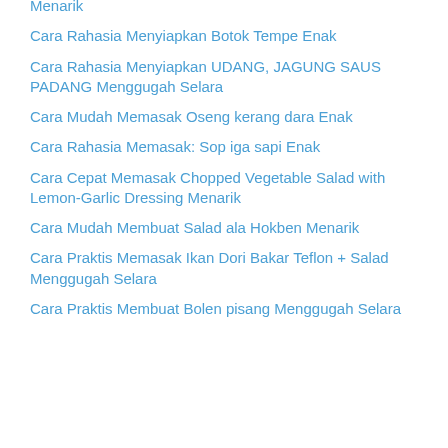Menarik
Cara Rahasia Menyiapkan Botok Tempe Enak
Cara Rahasia Menyiapkan UDANG, JAGUNG SAUS PADANG Menggugah Selara
Cara Mudah Memasak Oseng kerang dara Enak
Cara Rahasia Memasak: Sop iga sapi Enak
Cara Cepat Memasak Chopped Vegetable Salad with Lemon-Garlic Dressing Menarik
Cara Mudah Membuat Salad ala Hokben Menarik
Cara Praktis Memasak Ikan Dori Bakar Teflon + Salad Menggugah Selara
Cara Praktis Membuat Bolen pisang Menggugah Selara